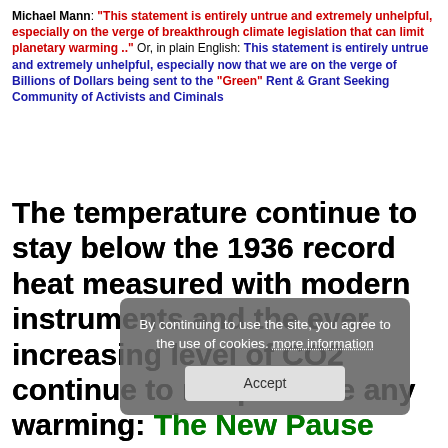Michael Mann: "This statement is entirely untrue and extremely unhelpful, especially on the verge of breakthrough climate legislation that can limit planetary warming .." Or, in plain English: This statement is entirely untrue and extremely unhelpful, especially now that we are on the verge of Billions of Dollars being sent to the "Green" Rent & Grant Seeking Community of Activists and Ciminals
The temperature continue to stay below the 1936 record heat measured with modern instruments and the ever increasing level of CO2 continue to not produce any warming: The New Pause length is now 7 years 11 months
[Figure (screenshot): Cookie consent overlay popup with text: 'By continuing to use the site, you agree to the use of cookies. more information' and an Accept button.]